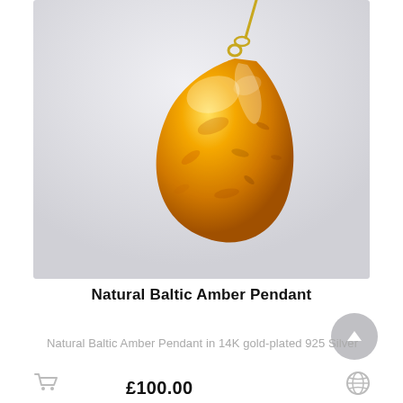[Figure (photo): Close-up photo of a teardrop-shaped natural Baltic amber pendant with golden-orange color and inclusions, hung from a gold-plated chain against a light grey background.]
Natural Baltic Amber Pendant
Natural Baltic Amber Pendant in 14K gold-plated 925 Silver
£100.00